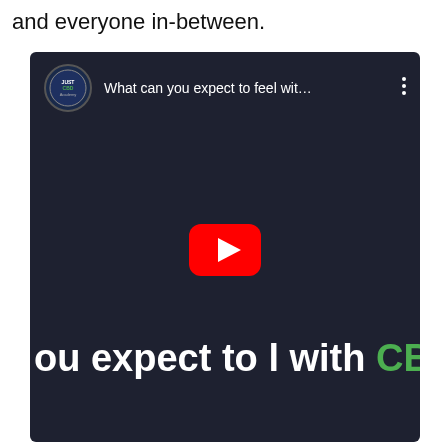and everyone in-between.
[Figure (screenshot): YouTube video thumbnail/player showing a video titled 'What can you expect to feel wit...' from JustCBD channel. The video shows a dark background with text 'you expect to feel with CBD' where CBD is in green. A YouTube play button is visible in the center.]